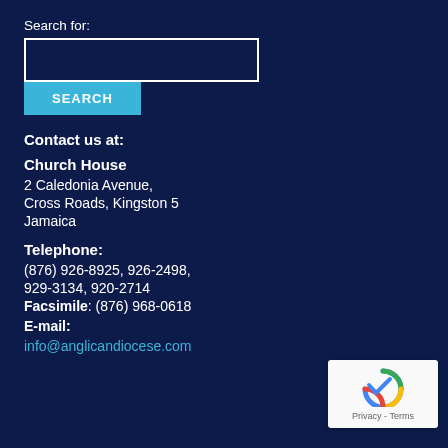Search for:
SEARCH
Contact us at:
Church House
2 Caledonia Avenue,
Cross Roads, Kingston 5
Jamaica
Telephone:
(876) 926-8925, 926-2498, 929-3134, 920-2714
Facsimile: (876) 968-0618
E-mail:
info@anglicandiocese.com
[Figure (other): reCAPTCHA widget with Privacy - Terms label]